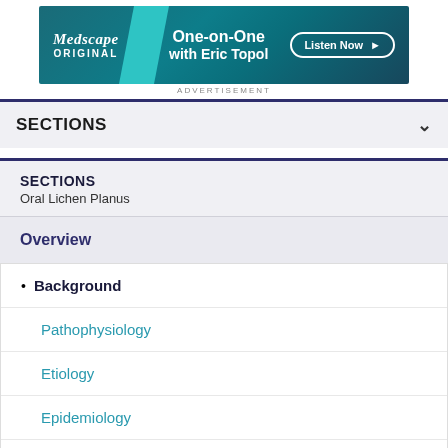[Figure (other): Medscape ORIGINAL advertisement banner: One-on-One with Eric Topol, Listen Now button]
ADVERTISEMENT
SECTIONS
SECTIONS
Oral Lichen Planus
Overview
Background
Pathophysiology
Etiology
Epidemiology
Prognosis